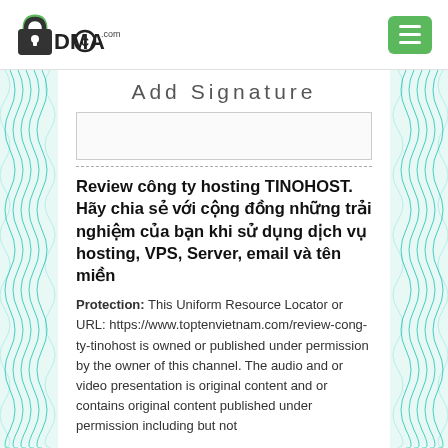[Figure (logo): DMCA.com logo with padlock icon]
Add Signature
Review công ty hosting TINOHOST. Hãy chia sẻ với cộng đồng những trải nghiệm của bạn khi sử dụng dịch vụ hosting, VPS, Server, email và tên miền
Protection: This Uniform Resource Locator or URL: https://www.toptenvietnam.com/review-cong-ty-tinohost is owned or published under permission by the owner of this channel. The audio and or video presentation is original content and or contains original content published under permission including but not